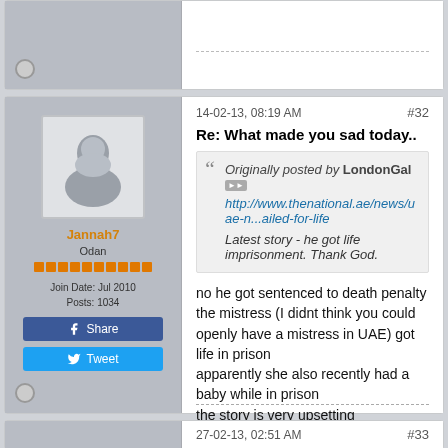[Figure (screenshot): Top partial forum post with avatar circle and dashed line separator]
[Figure (screenshot): Forum post by user Jannah7 (Odan), joined Jul 2010, 1034 posts, with avatar placeholder, rep bars, Share and Tweet buttons in sidebar]
14-02-13, 08:19 AM
#32
Re: What made you sad today..
Originally posted by LondonGal
http://www.thenational.ae/news/uae-n...ailed-for-life
Latest story - he got life imprisonment. Thank God.
no he got sentenced to death penalty
the mistress (I didnt think you could openly have a mistress in UAE) got life in prison
apparently she also recently had a baby while in prison
the story is very upsetting
27-02-13, 02:51 AM
#33